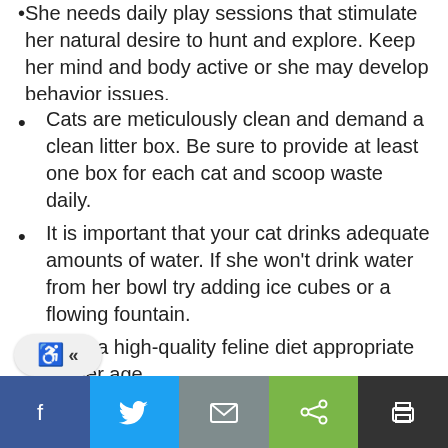She needs daily play sessions that stimulate her natural desire to hunt and explore. Keep her mind and body active or she may develop behavior issues.
Cats are meticulously clean and demand a clean litter box. Be sure to provide at least one box for each cat and scoop waste daily.
It is important that your cat drinks adequate amounts of water. If she won't drink water from her bowl try adding ice cubes or a flowing fountain.
Feed a high-quality feline diet appropriate for her age.
Exercise your cat regularly by engaging her with high-activity toys.
Facebook, Twitter, Email, Share, Print